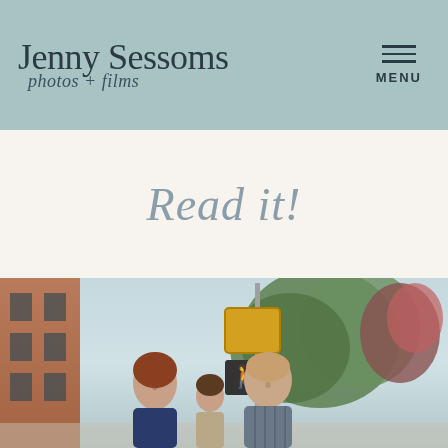Jenny Sessoms photos + films | MENU
Read it!
[Figure (photo): Family photo of a woman, man, and young child standing on a street sidewalk with brick buildings, trees with red flowers, and a pedestrian crossing signal in the background.]